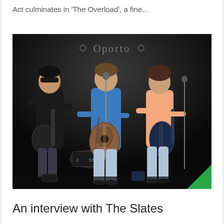Act culminates in 'The Overload', a fine...
[Figure (photo): Band performing on stage at Oporto venue. Three musicians visible: left player in black jacket with sunglasses holding electric guitar, center singer/guitarist in blue polo shirt playing acoustic guitar at microphone, right bassist in peach shirt playing bass guitar. Dark stage background with Oporto sign visible above.]
An interview with The Slates